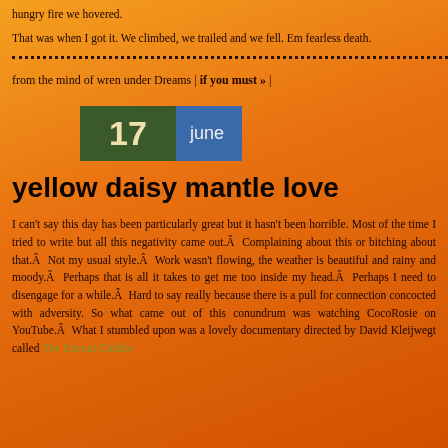hungry fire we hovered.
That was when I got it. We climbed, we trailed and we fell. Em fearless death.
from the mind of wren under Dreams | if you must » |
[Figure (other): Date badge showing '17 june' with dark green box for number and blue box for month name]
yellow daisy mantle love
I can't say this day has been particularly great but it hasn't been horrible. Most of the time I tried to write but all this negativity came out.Â  Complaining about this or bitching about that.Â  Not my usual style.Â  Work wasn't flowing, the weather is beautiful and rainy and moody.Â  Perhaps that is all it takes to get me too inside my head.Â  Perhaps I need to disengage for a while.Â  Hard to say really because there is a pull for connection concocted with adversity. So what came out of this conundrum was watching CocoRosie on YouTube.Â  What I stumbled upon was a lovely documentary directed by David Kleijwegt called The Eternal Children She highlights the reality of this generation, his impressions on it.Â  Be...